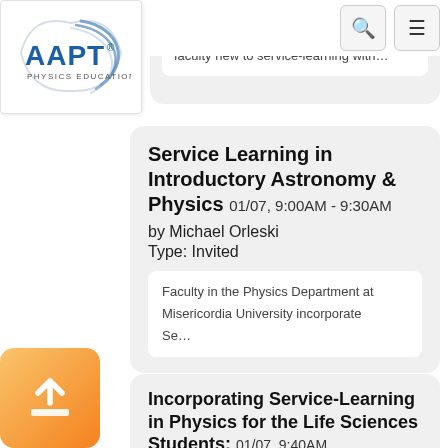[Figure (logo): AAPT Physics Education logo — blue circular swoosh with 'AAPT' in bold blue and 'PHYSICS EDUCATION' below]
faculty new to service-learning with...
Service Learning in Introductory Astronomy & Physics
01/07, 9:00AM - 9:30AM
by Michael Orleski
Type: Invited
Faculty in the Physics Department at Misericordia University incorporate Se...
Incorporating Service-Learning in Physics for the Life Sciences Students:
01/07, 9:40AM